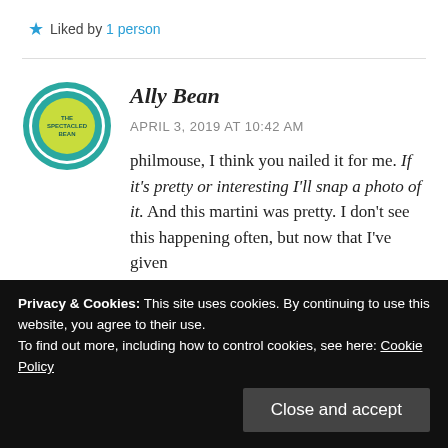★ Liked by 1 person
Ally Bean
APRIL 3, 2019 AT 10:42 AM
philmouse, I think you nailed it for me. If it's pretty or interesting I'll snap a photo of it. And this martini was pretty. I don't see this happening often, but now that I've given
Privacy & Cookies: This site uses cookies. By continuing to use this website, you agree to their use.
To find out more, including how to control cookies, see here: Cookie Policy
Close and accept